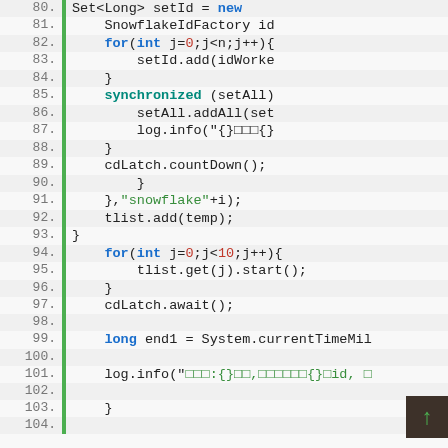[Figure (screenshot): Java source code editor screenshot showing lines 80-104. The code includes Set<Long>, SnowflakeIdFactory, for loops, synchronized block, setAll.addAll, log.info, cdLatch.countDown, tlist operations, and long end1 variable declaration. Line numbers are shown on the left with a green vertical border. Syntax highlighting: keywords in blue/teal, numbers in red, strings in green.]